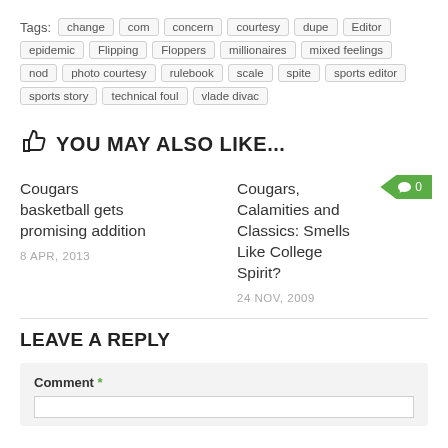Tags: change, com, concern, courtesy, dupe, Editor, epidemic, Flipping, Floppers, millionaires, mixed feelings, nod, photo courtesy, rulebook, scale, spite, sports editor, sports story, technical foul, vlade divac
YOU MAY ALSO LIKE...
Cougars basketball gets promising addition — 8 APR, 2013 | 0 comments
Cougars, Calamities and Classics: Smells Like College Spirit? — 24 NOV, 2009 | 0 comments
LEAVE A REPLY
Comment *